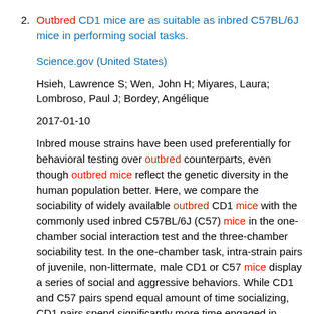2. Outbred CD1 mice are as suitable as inbred C57BL/6J mice in performing social tasks.
Science.gov (United States)
Hsieh, Lawrence S; Wen, John H; Miyares, Laura; Lombroso, Paul J; Bordey, Angélique
2017-01-10
Inbred mouse strains have been used preferentially for behavioral testing over outbred counterparts, even though outbred mice reflect the genetic diversity in the human population better. Here, we compare the sociability of widely available outbred CD1 mice with the commonly used inbred C57BL/6J (C57) mice in the one-chamber social interaction test and the three-chamber sociability test. In the one-chamber task, intra-strain pairs of juvenile, non-littermate, male CD1 or C57 mice display a series of social and aggressive behaviors. While CD1 and C57 pairs spend equal amount of time socializing, CD1 pairs spend significantly more time engaged in aggressive behaviors than C57 mice. In the three-chamber task, sociability of C57 mice was less dependent on acclimation paradigms than